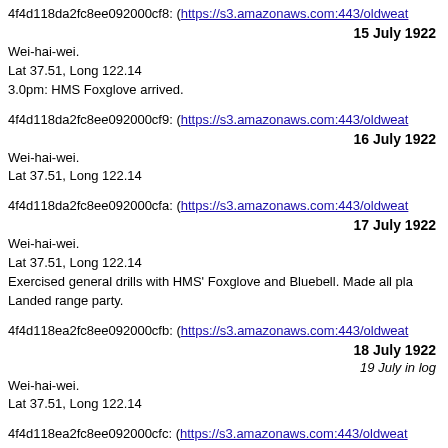4f4d118da2fc8ee092000cf8: (https://s3.amazonaws.com:443/oldweat
15 July 1922
Wei-hai-wei.
Lat 37.51, Long 122.14
3.0pm: HMS Foxglove arrived.
4f4d118da2fc8ee092000cf9: (https://s3.amazonaws.com:443/oldweat
16 July 1922
Wei-hai-wei.
Lat 37.51, Long 122.14
4f4d118da2fc8ee092000cfa: (https://s3.amazonaws.com:443/oldweat
17 July 1922
Wei-hai-wei.
Lat 37.51, Long 122.14
Exercised general drills with HMS' Foxglove and Bluebell. Made all pla
Landed range party.
4f4d118ea2fc8ee092000cfb: (https://s3.amazonaws.com:443/oldweat
18 July 1922
19 July in log
Wei-hai-wei.
Lat 37.51, Long 122.14
4f4d118ea2fc8ee092000cfc: (https://s3.amazonaws.com:443/oldweat